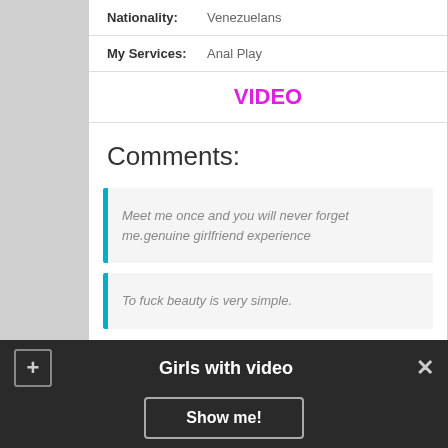Nationality: Venezuelans
My Services: Anal Play
VIDEO
Comments:
Meet me once and you will never forget me.genuine girlfriend experience
To fuck beauty is very simple.
Girls with video
Show me!